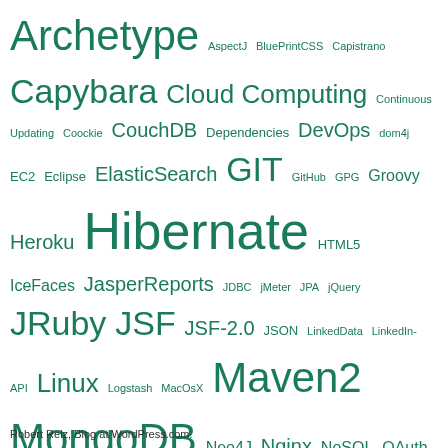[Figure (infographic): Tag cloud of software/technology terms in varying font sizes, all in teal/green color. Larger terms appear more frequently or prominently. Terms include: Archetype, AspectJ, BluePrintCSS, Capistrano, Capybara, Cloud Computing, Continuous Updating, Coockie, CouchDB, Dependencies, DevOps, dom4j, EC2, Eclipse, ElasticSearch, GIT, GitHub, GPG, Groovy, Heroku, Hibernate, HTML5, IceFaces, JasperReports, JDBC, jMeter, JPA, jQuery, JRuby, JSF, JSF-2.0, JSON, LinkedData, LinkedIn-API, Linux, Logstash, MacOsX, Maven2, MongoDB, Neo4J, Nginx, NoSQL, OAuth, Postfix, PostgreSQL, PostmarkApp, RDF, RichFaces, RSpec, Ruby, Ruby o, Ruby on Rails, RVM, security, Selenium, SPARQL, Spring, SpringMVC, SSO, Struts2, Subversion, Testing, TestNG, Tomcat, unico, Unicorn, XML, YDL]
Robert Reiz, Blog at WordPress.com.